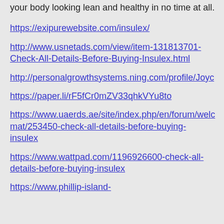your body looking lean and healthy in no time at all.
https://exipurewebsite.com/insulex/
http://www.usnetads.com/view/item-131813701-Check-All-Details-Before-Buying-Insulex.html
http://personalgrowthsystems.ning.com/profile/Joyc
https://paper.li/rF5fCr0mZV33qhkVYu8to
https://www.uaerds.ae/site/index.php/en/forum/welc mat/253450-check-all-details-before-buying-insulex
https://www.wattpad.com/1196926600-check-all-details-before-buying-insulex
https://www.phillip-island-